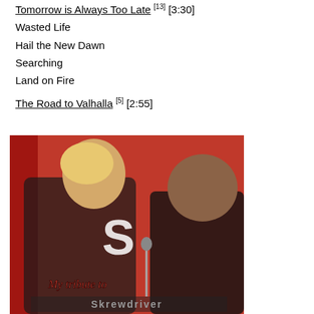Tomorrow is Always Too Late [13] [3:30]
Wasted Life
Hail the New Dawn
Searching
Land on Fire
The Road to Valhalla [5] [2:55]
[Figure (photo): Two people in black shirts in front of a red background with a logo. Text overlay reads 'My tribute to Skrewdriver'.]